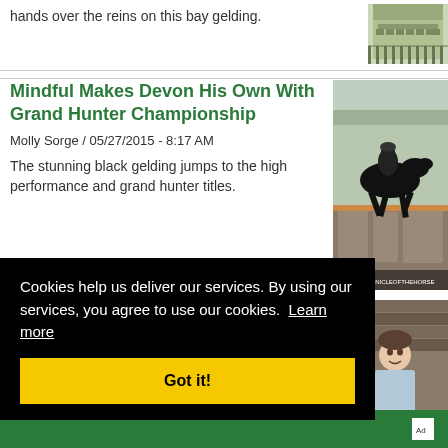hands over the reins on this bay gelding.
[Figure (photo): Building with fence, outdoor equestrian facility]
Mindful Makes Devon His Own With Grand Hunter Championship
Molly Sorge / 05/27/2015 - 8:17 AM
The stunning black gelding jumps to the high performance and grand hunter titles.
[Figure (photo): Black horse jumping over stone wall at Devon horse show]
Amateurs Like Us: Caroline Johnson Has
[Figure (photo): Woman in light blue shirt standing in barn]
Cookies help us deliver our services. By using our services, you agree to use our cookies.  Learn more
Got it!